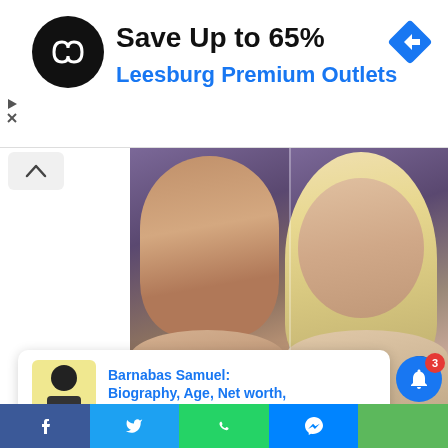[Figure (infographic): Advertisement banner for Leesburg Premium Outlets with a circular black logo with a double-arrow infinity-like symbol, text 'Save Up to 65%' in bold black and 'Leesburg Premium Outlets' in blue, and a blue diamond-shaped directional arrow icon on the right]
Save Up to 65%
Leesburg Premium Outlets
[Figure (photo): Split image showing a young man on the left with dark hair against a purple background, and a woman with long blonde hair and heavy makeup on the right, also against a purple background. An X button appears at bottom right of the image.]
[Figure (infographic): Notification card showing a yellow-background thumbnail of a man, with text 'Barnabas Samuel: Biography, Age, Net worth,' in blue and '1 hour ago' in gray]
Barnabas Samuel:
Biography, Age, Net worth,
1 hour ago
Facebook | Twitter | WhatsApp | Messenger | Share